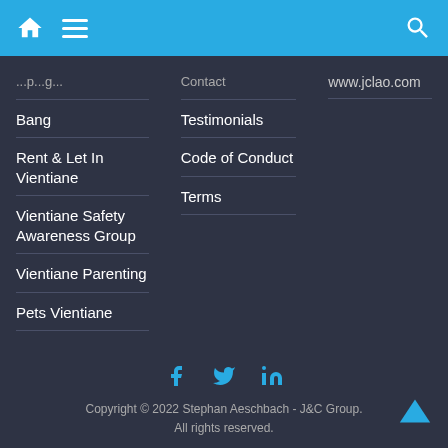Navigation header with home, menu, and search icons
Bang
Rent & Let In Vientiane
Vientiane Safety Awareness Group
Vientiane Parenting
Pets Vientiane
Contact
Testimonials
Code of Conduct
Terms
www.jclao.com
Copyright © 2022 Stephan Aeschbach - J&C Group. All rights reserved.